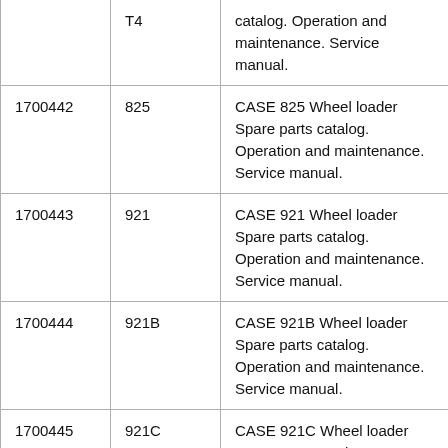|  | T4 | catalog. Operation and maintenance. Service manual. |
| 1700442 | 825 | CASE 825 Wheel loader Spare parts catalog. Operation and maintenance. Service manual. |
| 1700443 | 921 | CASE 921 Wheel loader Spare parts catalog. Operation and maintenance. Service manual. |
| 1700444 | 921B | CASE 921B Wheel loader Spare parts catalog. Operation and maintenance. Service manual. |
| 1700445 | 921C | CASE 921C Wheel loader Spare parts catalog. Operation and maintenance. Service manual. |
| 1700446 | 921E | CASE 921E Wheel loader Spare parts catalog. Operation and maintenance. Service manual. |
| 1700447 | 921E T2 | CASE 921E T2 Wheel loader Spare parts |